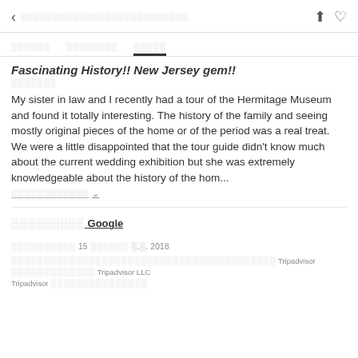< ░░░░░░░░░░░░░░░░░░░░░ [share] [heart]
░░░░░░  ░░░░░░░░  ░░░░░ [tabs]
Fascinating History!! New Jersey gem!!
░░░░░░░
My sister in law and I recently had a tour of the Hermitage Museum and found it totally interesting. The history of the family and seeing mostly original pieces of the home or of the period was a real treat. We were a little disappointed that the tour guide didn't know much about the current wedding exhibition but she was extremely knowledgeable about the history of the hom...
░░░░░░░░░░░░ ∨
░░░░░░░░░ Google
░░░░░░░░░░ 15 ░░░░░░ ░.░. 2018
░░░░░░░░░░░░░░░░░░░░░░░░░░░░░░░░░░░░░░░░░░░░░ Tripadvisor ░░░░░░░░░░░░░ Tripadvisor LLC Tripadvisor ░░░░░░░░░░░░░░░